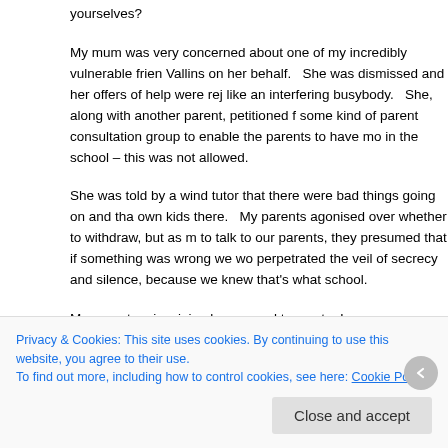yourselves?
My mum was very concerned about one of my incredibly vulnerable frien Vallins on her behalf.   She was dismissed and her offers of help were rej like an interfering busybody.   She, along with another parent, petitioned f some kind of parent consultation group to enable the parents to have mo in the school – this was not allowed.
She was told by a wind tutor that there were bad things going on and tha own kids there.   My parents agonised over whether to withdraw, but as m to talk to our parents, they presumed that if something was wrong we wo perpetrated the veil of secrecy and silence, because we knew that's what school.
My own story is minimal compared to most – I was lucky.  [Houseparent] smiley exterior.   She encouraged so many of us to be worried about our
Privacy & Cookies: This site uses cookies. By continuing to use this website, you agree to their use.
To find out more, including how to control cookies, see here: Cookie Policy
Close and accept